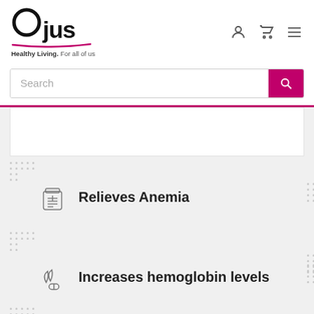[Figure (logo): Ojus logo with circular O, 'jus' text, magenta underline, tagline 'Healthy Living. For all of us']
[Figure (screenshot): Search bar with placeholder 'Search' and magenta search button with magnifier icon]
Relieves Anemia
Increases hemoglobin levels